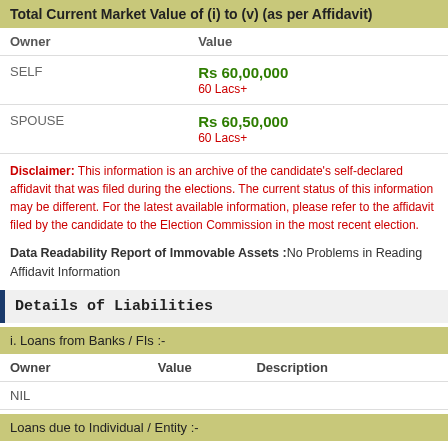Total Current Market Value of (i) to (v) (as per Affidavit)
| Owner | Value |
| --- | --- |
| SELF | Rs 60,00,000
60 Lacs+ |
| SPOUSE | Rs 60,50,000
60 Lacs+ |
Disclaimer: This information is an archive of the candidate’s self-declared affidavit that was filed during the elections. The current status of this information may be different. For the latest available information, please refer to the affidavit filed by the candidate to the Election Commission in the most recent election.
Data Readability Report of Immovable Assets :No Problems in Reading Affidavit Information
Details of Liabilities
i. Loans from Banks / FIs :-
| Owner | Value | Description |
| --- | --- | --- |
| NIL |  |  |
Loans due to Individual / Entity :-